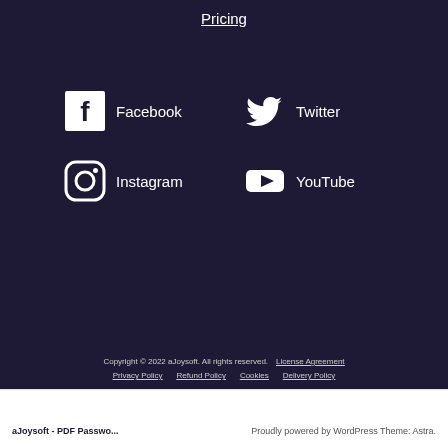Pricing
[Figure (illustration): Social media icons grid: Facebook, Twitter, Instagram, YouTube with white icons on dark background]
Copyright © 2022 aJoysoft. All rights reserved. License Agreement Privacy Policy Refund Policy Cookies Delivery Policy
aJoysoft - PDF Passwo... Proudly powered by WordPress Theme: Astra.